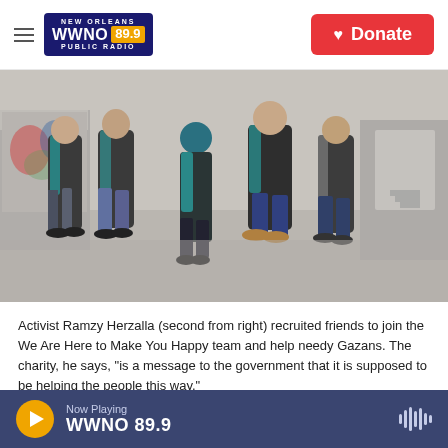WWNO 89.9 New Orleans Public Radio — Donate
[Figure (photo): Five young people standing in a street, wearing matching dark vests with teal undersleeves. A woman in a teal hijab stands in the center. Buildings and street art are visible in the background.]
Activist Ramzy Herzalla (second from right) recruited friends to join the We Are Here to Make You Happy team and help needy Gazans. The charity, he says, "is a message to the government that it is supposed to be helping the people this way."
Now Playing WWNO 89.9